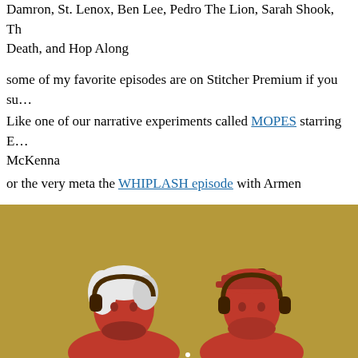Damron, St. Lenox, Ben Lee, Pedro The Lion, Sarah Shook, Th… Death, and Hop Along
some of my favorite episodes are on Stitcher Premium if you su…
Like one of our narrative experiments called MOPES starring E… McKenna
or the very meta the WHIPLASH episode with Armen
or many of our many musical guest episodes like… LUCERO
[Figure (illustration): Illustration on a golden/olive background showing two figures wearing headphones - one with white/silver hair on the left and one wearing a cap on the right, both rendered in an orange/red illustrative style]